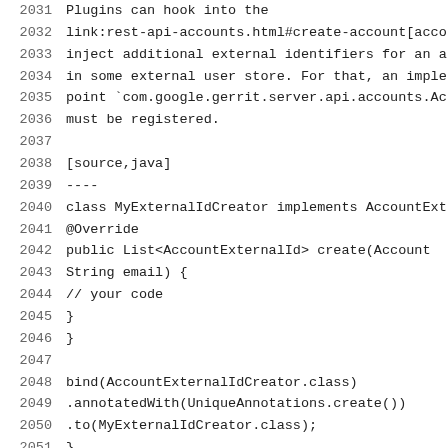Code listing lines 2031-2052 showing Java plugin code for AccountExternalIdCreator implementation